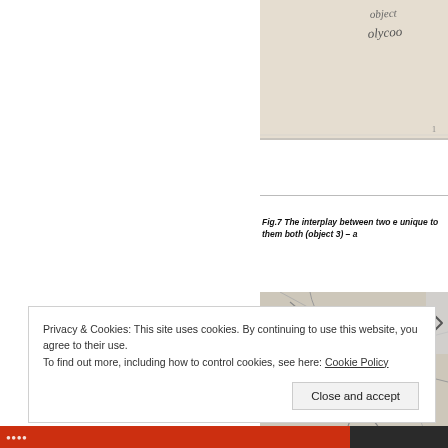[Figure (illustration): Partial view of a pencil sketch/diagram on beige paper, showing handwritten text (appears to say 'object' or similar) — top portion of what seems to be an interplay diagram.]
Fig.7 The interplay between two e unique to them both (object 3) – a
[Figure (illustration): Pencil sketch on beige/grey paper showing curved lines and handwritten labels (appears to show 'h2' and 'n' or similar notation), representing an abstract interplay diagram.]
Privacy & Cookies: This site uses cookies. By continuing to use this website, you agree to their use.
To find out more, including how to control cookies, see here: Cookie Policy